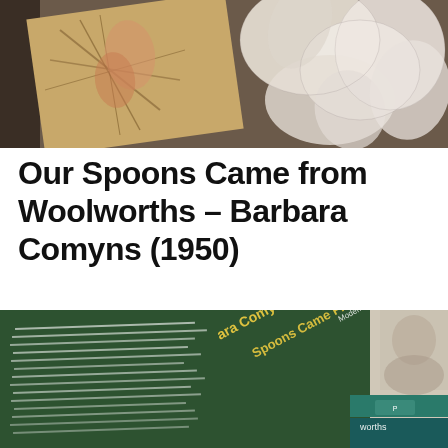[Figure (photo): A book with illustrated cover artwork showing geometric/artistic imagery in warm tones, with white floral/paper elements in the background.]
Our Spoons Came from Woolworths – Barbara Comyns (1950)
[Figure (photo): A green paperback book with yellow and white text on the spine and back cover reading 'Barbara Comyns', 'Spoons Came From Woolworths', with 'Modern Classics' branding and a penguin logo visible.]